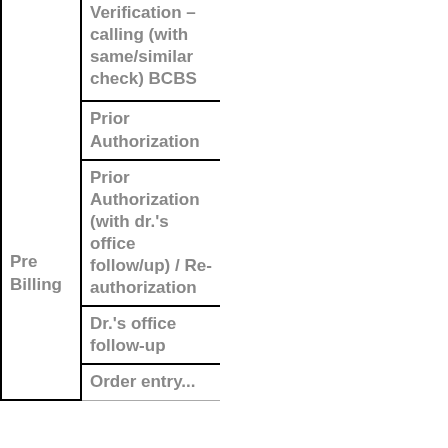| Phase | Task |
| --- | --- |
| Pre Billing | Eligibility Verification – calling (with same/similar check) BCBS |
|  | Prior Authorization |
|  | Prior Authorization (with dr.'s office follow/up) / Re-authorization |
|  | Dr.'s office follow-up |
|  | Order entry... |